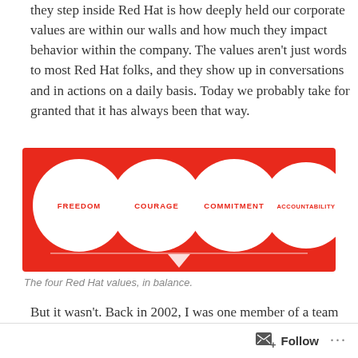they step inside Red Hat is how deeply held our corporate values are within our walls and how much they impact behavior within the company. The values aren't just words to most Red Hat folks, and they show up in conversations and in actions on a daily basis. Today we probably take for granted that it has always been that way.
[Figure (infographic): Four white circles on a red background labeled FREEDOM, COURAGE, COMMITMENT, ACCOUNTABILITY, balanced on a scale/triangle symbol below a horizontal line.]
The four Red Hat values, in balance.
But it wasn't. Back in 2002, I was one member of a team tasked with figuring out Red Hat's corporate values. At that
Follow ···